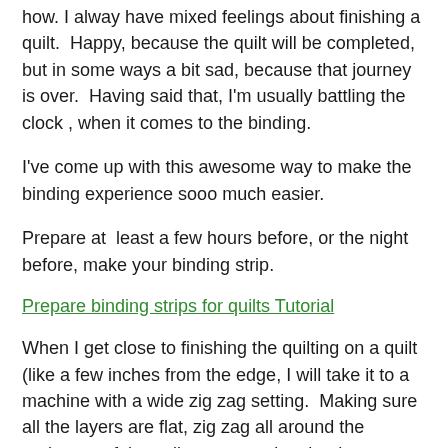how.  I alway have mixed feelings about finishing a quilt.  Happy, because the quilt will be completed, but in some ways a bit sad, because that journey is over.  Having said that, I'm usually battling the clock , when it comes to the binding.
I've come up with this awesome way to make the binding experience sooo much easier.
Prepare at  least a few hours before, or the night before, make your binding strip.
Prepare binding strips for quilts Tutorial
When I get close to finishing the quilting on a quilt (like a few inches from the edge, I will take it to a machine with a wide zig zag setting.  Making sure all the layers are flat, zig zag all around the perimeter of the quilt top, encasing the three layers.  (Now I can finish the quilting easily up the edges).